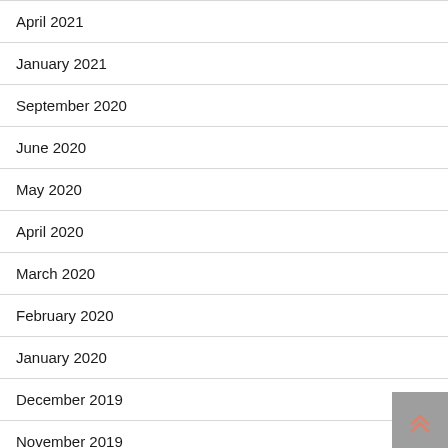April 2021
January 2021
September 2020
June 2020
May 2020
April 2020
March 2020
February 2020
January 2020
December 2019
November 2019